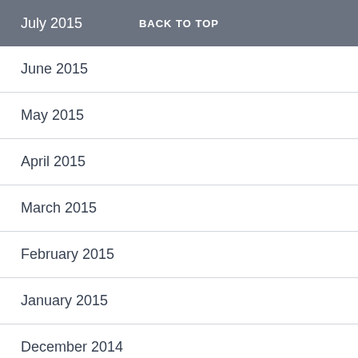July 2015 | BACK TO TOP
June 2015
May 2015
April 2015
March 2015
February 2015
January 2015
December 2014
November 2014